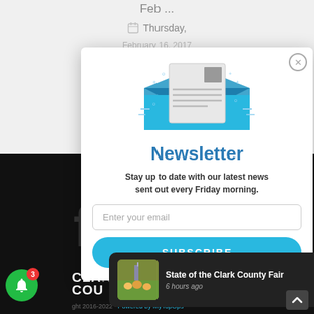[Figure (screenshot): Top portion of a website showing calendar/date area with 'Feb ...' text and a Thursday date entry, partially visible]
[Figure (illustration): Envelope with letter/newsletter icon in blue tones - email newsletter subscription modal illustration]
Newsletter
Stay up to date with our latest news sent out every Friday morning.
Enter your email
SUBSCRIBE
[Figure (screenshot): Dark background section showing 'CLARK COUNTY' text partially visible, and a notification popup for 'State of the Clark County Fair' posted 6 hours ago with a thumbnail image of a fair crowd]
State of the Clark County Fair
6 hours ago
ght 2016-2022 · Powered by MyTopOps ·